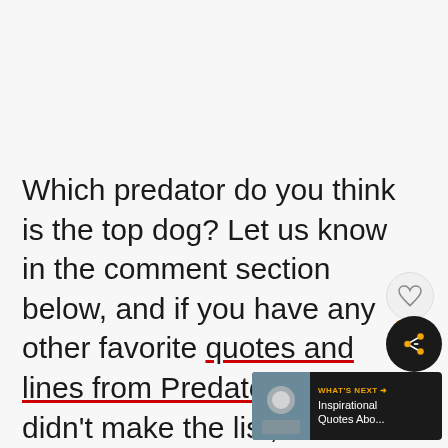Which predator do you think is the top dog? Let us know in the comment section below, and if you have any other favorite quotes and lines from Predator that didn't make the list, feel free to share those as well!
[Figure (other): Heart/like button (circular, light gray), share button (circular, dark), notification badge showing '1', and a 'What's Next' panel showing a thumbnail image and text 'Inspirational Quotes Abo...']